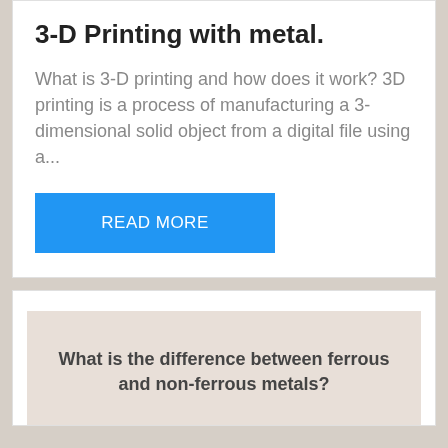3-D Printing with metal.
What is 3-D printing and how does it work? 3D printing is a process of manufacturing a 3-dimensional solid object from a digital file using a...
READ MORE
What is the difference between ferrous and non-ferrous metals?